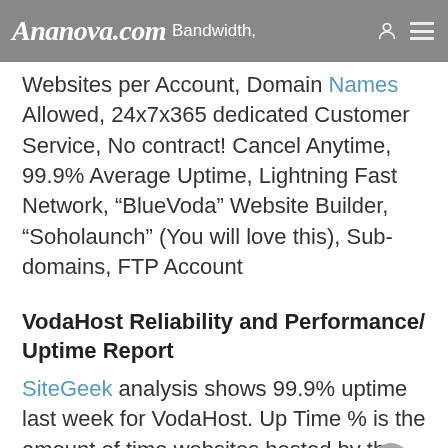Ananova.com Bandwidth,
Websites per Account, Domain Names Allowed, 24x7x365 dedicated Customer Service, No contract! Cancel Anytime, 99.9% Average Uptime, Lightning Fast Network, “BlueVoda” Website Builder, “Soholaunch” (You will love this), Sub-domains, FTP Account
VodaHost Reliability and Performance/ Uptime Report
SiteGeek analysis shows 99.9% uptime last week for VodaHost. Up Time % is the amount of time websites hosted by the hosting